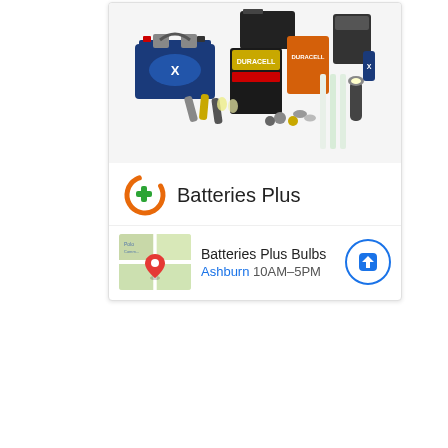[Figure (photo): Photo of various batteries and lighting products including Duracell batteries, a large car battery, and fluorescent tubes]
Batteries Plus
Batteries Plus Bulbs
Ashburn 10AM–5PM